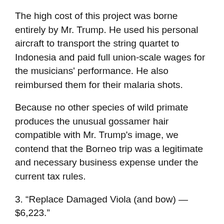The high cost of this project was borne entirely by Mr. Trump. He used his personal aircraft to transport the string quartet to Indonesia and paid full union-scale wages for the musicians' performance. He also reimbursed them for their malaria shots.
Because no other species of wild primate produces the unusual gossamer hair compatible with Mr. Trump's image, we contend that the Borneo trip was a legitimate and necessary business expense under the current tax rules.
3. “Replace Damaged Viola (and bow) — $6,223.”
Through no fault of Mr. Trump, one of the juvenile orangutans awakened near the end of the quartet's performance and went after the viola player. The man